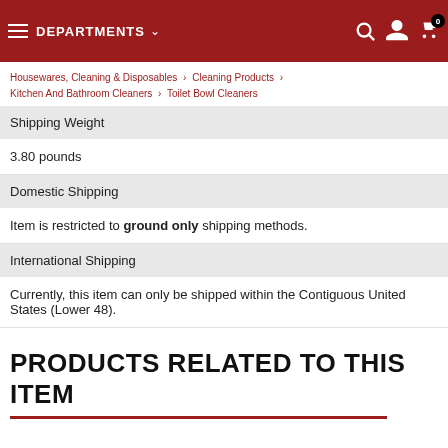DEPARTMENTS
Housewares, Cleaning & Disposables > Cleaning Products > Kitchen And Bathroom Cleaners > Toilet Bowl Cleaners
| Shipping Weight | 3.80 pounds |
| Domestic Shipping | Item is restricted to ground only shipping methods. |
| International Shipping | Currently, this item can only be shipped within the Contiguous United States (Lower 48). |
PRODUCTS RELATED TO THIS ITEM